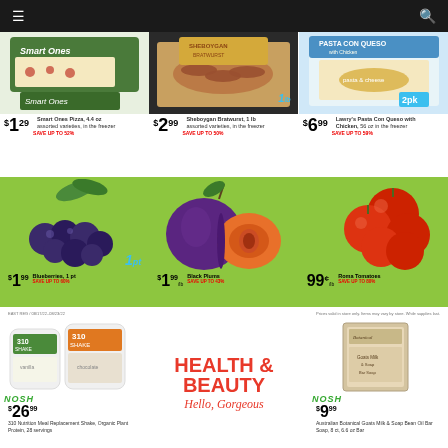Navigation bar with menu and search icons
[Figure (photo): Smart Ones Pizza 4.4 oz frozen food package]
$1.29 Smart Ones Pizza, 4.4 oz assorted varieties, in the freezer SAVE UP TO 52%
[Figure (photo): Sheboygan Bratwurst 1lb package, 1 lb badge]
$2.99 Sheboygan Bratwurst, 1 lb assorted varieties, in the freezer SAVE UP TO 50%
[Figure (photo): Lawry's Pasta Con Queso with Chicken 2pk]
$6.99 Lawry's Pasta Con Queso with Chicken, 56 oz in the freezer Save up to 59%
[Figure (photo): Blueberries 1 pint on green background]
$1.99 Blueberries, 1 pt SAVE UP TO 60%
[Figure (photo): Black Plums on green background]
$1.99 /lb Black Plums SAVE UP TO 43%
[Figure (photo): Roma Tomatoes on green background]
99¢ /lb Roma Tomatoes SAVE UP TO 80%
EAST REG / 08/17/22–08/23/22     Prices valid in store only. Items may vary by store. While supplies last.
[Figure (photo): 310 Nutrition Meal Replacement Shake, Organic Plant Protein, 28 servings packages]
NOSH $26.99 310 Nutrition Meal Replacement Shake, Organic Plant Protein, 28 servings
[Figure (infographic): Health & Beauty Hello, Gorgeous promotional banner]
[Figure (photo): Australian Botanical Goats Milk & Soap Bean Oil Bar Soap product]
NOSH $9.99 Australian Botanical Goats Milk & Soap Bean Oil Bar Soap, 8 ct, 6.6 oz Bar